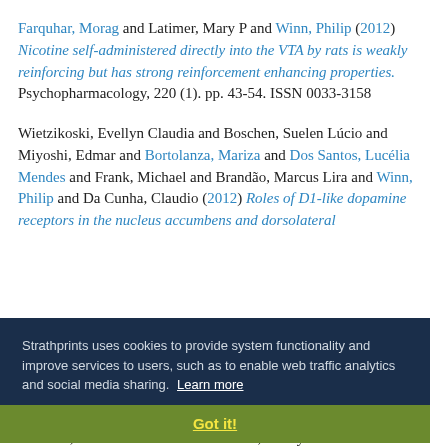Farquhar, Morag and Latimer, Mary P and Winn, Philip (2012) Nicotine self-administered directly into the VTA by rats is weakly reinforcing but has strong reinforcement enhancing properties. Psychopharmacology, 220 (1). pp. 43-54. ISSN 0033-3158
Wietzikoski, Evellyn Claudia and Boschen, Suelen Lúcio and Miyoshi, Edmar and Bortolanza, Mariza and Dos Santos, Lucélia Mendes and Frank, Michael and Brandão, Marcus Lira and Winn, Philip and Da Cunha, Claudio (2012) Roles of D1-like dopamine receptors in the nucleus accumbens and dorsolateral...
Strathprints uses cookies to provide system functionality and improve services to users, such as to enable web traffic analytics and social media sharing. Learn more
Got it!
2011
Boschen, Suelen Lucio and Wietzikoski, Evellyn Claudia and